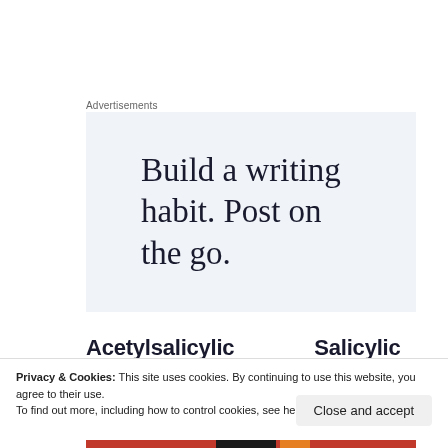Advertisements
[Figure (other): Advertisement banner with light blue-grey background and serif text reading 'Build a writing habit. Post on the go.']
Acetylsalicylic
Salicylic
Privacy & Cookies: This site uses cookies. By continuing to use this website, you agree to their use.
To find out more, including how to control cookies, see here: Cookie Policy
Close and accept